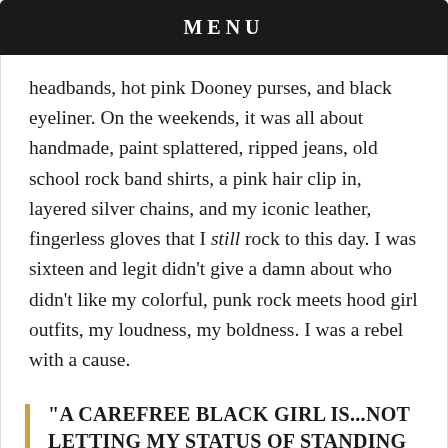MENU
headbands, hot pink Dooney purses, and black eyeliner. On the weekends, it was all about handmade, paint splattered, ripped jeans, old school rock band shirts, a pink hair clip in, layered silver chains, and my iconic leather, fingerless gloves that I still rock to this day. I was sixteen and legit didn't give a damn about who didn't like my colorful, punk rock meets hood girl outfits, my loudness, my boldness. I was a rebel with a cause.
"A CAREFREE BLACK GIRL IS...NOT LETTING MY STATUS OF STANDING ON THE MARGINS OF BOTH RACE AND GENDER INHIBIT OR DISABLE